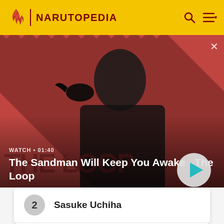NARUTOPEDIA
[Figure (screenshot): Video thumbnail showing a dark figure with a crow on their shoulder against a red and dark striped background. Text overlay: WATCH • 01:40, The Sandman Will Keep You Awake - The Loop. Play button visible bottom right.]
2 Sasuke Uchiha
3 Madara Uchiha